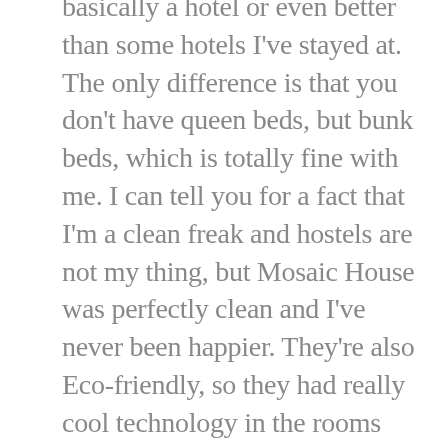basically a hotel or even better than some hotels I've stayed at. The only difference is that you don't have queen beds, but bunk beds, which is totally fine with me. I can tell you for a fact that I'm a clean freak and hostels are not my thing, but Mosaic House was perfectly clean and I've never been happier. They're also Eco-friendly, so they had really cool technology in the rooms with lights shutting off with sensors and such. For around 5 euros a night, we had a 4 people room with a private bathroom. I swear the bathroom was better than the one I had back in Barcelona. . . I'm not sure if the rooms are still as cheap now, since when we had visited, the hostel had just opened for around a month so everything was brand new. Also, it's located in a great location in Praha 2, and we basically were able to walk to tourist spots. We didn't take public transportation at all during our trip, since Prague is actually quite a walkable city! At night, we went out to see the Christmas market, which was only around a 10 minute walk from our hostel.